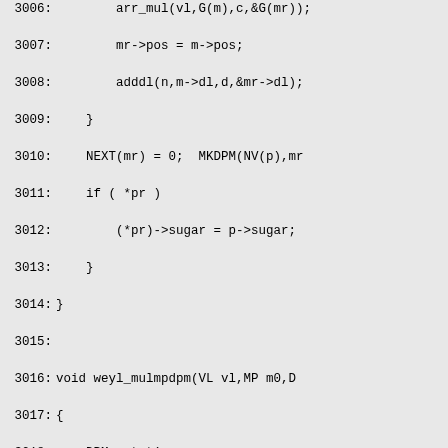Source code listing lines 3006-3036, showing C code for weyl_mulmpdpm function with variable declarations and logic including DPM, DMM, DL, struct oMP, static DMM *w *psum, static struct cdl *tab, static int wlen/rtlen, and control flow with if/else/for blocks.